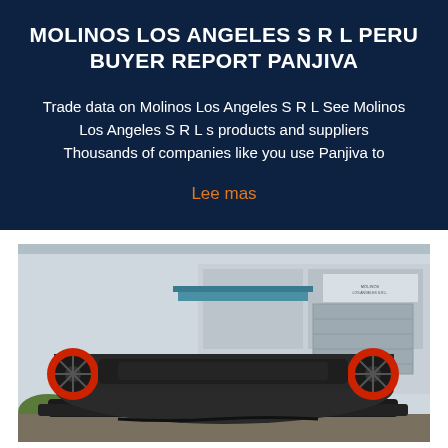MOLINOS LOS ANGELES S R L PERU BUYER REPORT PANJIVA
Trade data on Molinos Los Angeles S R L See Molinos Los Angeles S R L s products and suppliers Thousands of companies like you use Panjiva to
Lee mas
[Figure (photo): Industrial machinery (large black roller/mill equipment with red circular end caps) displayed outdoors in front of a factory or warehouse building.]